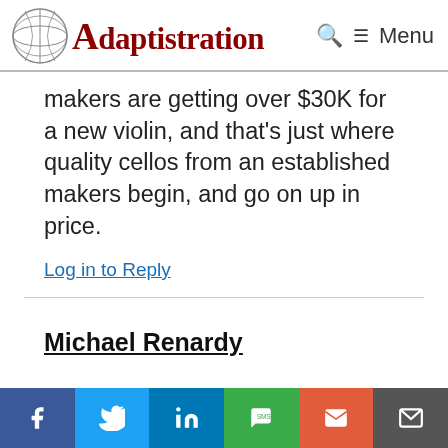Adaptistration — Menu
makers are getting over $30K for a new violin, and that’s just where quality cellos from an established makers begin, and go on up in price.
Log in to Reply
Michael Renardy